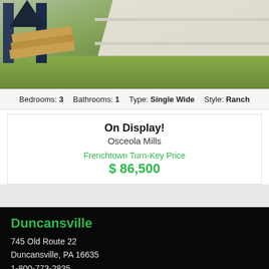[Figure (photo): Outdoor photo showing grass hillside, wooden structure/lumber pile on left, white fence on right]
Bedrooms: 3   Bathrooms: 1   Type: Single Wide   Style: Ranch
On Display!
Osceola Mills
Frenchtown Turn-Key Price
$ 86,500
Duncansville
745 Old Route 22
Duncansville, PA 16635
1-800-773-2835
Fayetteville
5300 Lincoln Way East